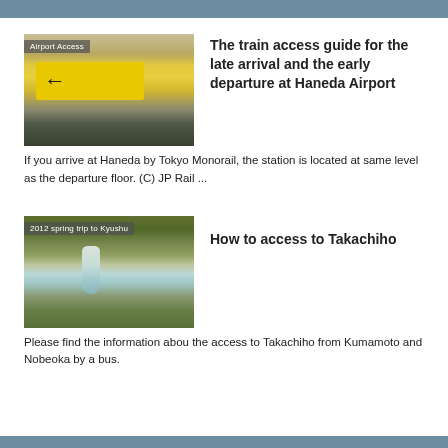[Figure (photo): Airport sign showing a yellow direction sign with a left arrow and train icon, labeled 'Airport Access']
The train access guide for the late arrival and the early departure at Haneda Airport
If you arrive at Haneda by Tokyo Monorail, the station is located at same level as the departure floor. (C) JP Rail ...
[Figure (photo): Waterfall in a rocky gorge, labeled '2012 spring trip to Kyushu']
How to access to Takachiho
Please find the information abou the access to Takachiho from Kumamoto and Nobeoka by a bus.